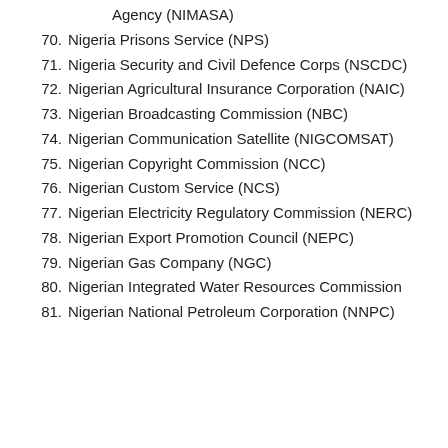Agency (NIMASA)
70. Nigeria Prisons Service (NPS)
71. Nigeria Security and Civil Defence Corps (NSCDC)
72. Nigerian Agricultural Insurance Corporation (NAIC)
73. Nigerian Broadcasting Commission (NBC)
74. Nigerian Communication Satellite (NIGCOMSAT)
75. Nigerian Copyright Commission (NCC)
76. Nigerian Custom Service (NCS)
77. Nigerian Electricity Regulatory Commission (NERC)
78. Nigerian Export Promotion Council (NEPC)
79. Nigerian Gas Company (NGC)
80. Nigerian Integrated Water Resources Commission
81. Nigerian National Petroleum Corporation (NNPC)